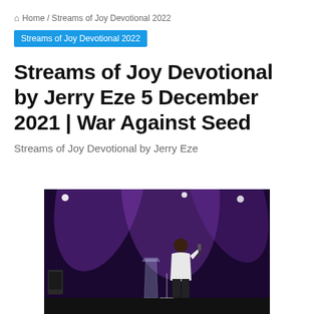Home / Streams of Joy Devotional 2022
Streams of Joy Devotional 2022
Streams of Joy Devotional by Jerry Eze 5 December 2021 | War Against Seed
Streams of Joy Devotional by Jerry Eze
[Figure (photo): A speaker/preacher on stage holding a microphone, wearing a white jacket and dark pants, standing at a podium with purple stage lighting in the background]